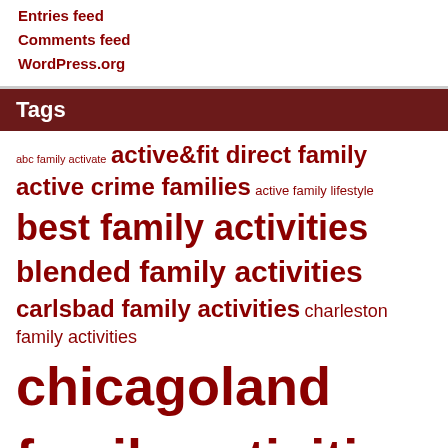Entries feed
Comments feed
WordPress.org
Tags
abc family activate active&fit direct family active crime families active family lifestyle best family activities blended family activities carlsbad family activities charleston family activities chicagoland family activities columbus family activities dayton family activities dubuque family activities easy family activities educational family activities extended family activities family activities birmingham family activities